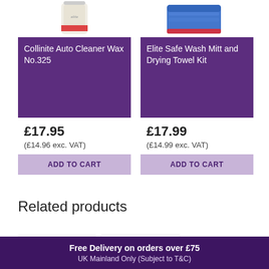[Figure (photo): Collinite Auto Cleaner Wax No.325 product image - cream/beige container with elite logo]
[Figure (photo): Elite Safe Wash Mitt and Drying Towel Kit - blue and red microfiber towel]
Collinite Auto Cleaner Wax No.325
£17.95
(£14.96 exc. VAT)
ADD TO CART
Elite Safe Wash Mitt and Drying Towel Kit
£17.99
(£14.99 exc. VAT)
ADD TO CART
Related products
[Figure (photo): Metal bucket product thumbnail]
[Figure (logo): Blue circular logo/brand icon]
Free Delivery on orders over £75
UK Mainland Only (Subject to T&C)